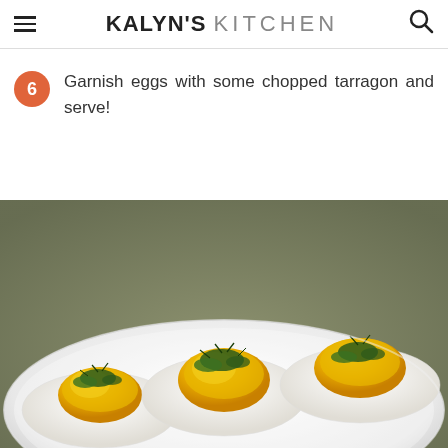KALYN'S KITCHEN
6 Garnish eggs with some chopped tarragon and serve!
[Figure (photo): Deviled eggs garnished with chopped tarragon arranged on a white plate, showing yellow yolk filling piped on top of egg white halves with fresh green herb garnish]